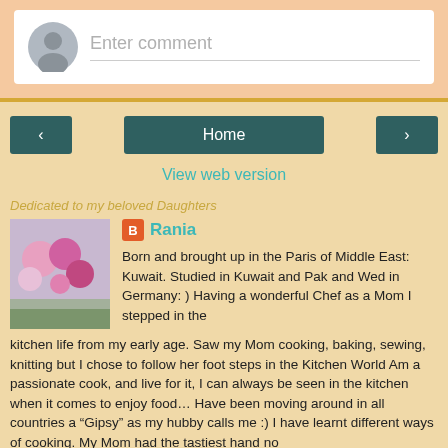[Figure (screenshot): Comment input box with avatar placeholder and 'Enter comment' placeholder text on white background]
[Figure (screenshot): Navigation bar with left arrow button, Home button, and right arrow button in dark teal color]
View web version
Dedicated to my beloved Daughters
Rania
Born and brought up in the Paris of Middle East: Kuwait. Studied in Kuwait and Pak and Wed in Germany: ) Having a wonderful Chef as a Mom I stepped in the kitchen life from my early age. Saw my Mom cooking, baking, sewing, knitting but I chose to follow her foot steps in the Kitchen World Am a passionate cook, and live for it, I can always be seen in the kitchen when it comes to enjoy food… Have been moving around in all countries a “Gipsy” as my hubby calls me :) I have learnt different ways of cooking. My Mom had the tastiest hand no